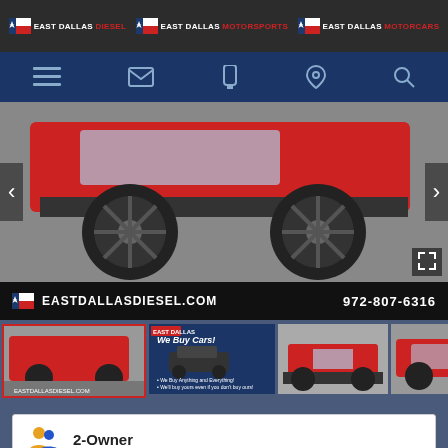EAST DALLAS DIESEL | EAST DALLAS MOTORSPORTS | EAST DALLAS MOTORCARS
[Figure (screenshot): Navigation bar with menu, email, phone, location, and search icons on dark blue background]
[Figure (photo): Large lifted red RAM truck with black custom wheels, close-up of wheel and undercarriage in a showroom]
[Figure (infographic): Website banner showing EASTDALLASDIESEL.COM and phone number 972-807-6316 with Texas logo]
[Figure (photo): Thumbnail strip of vehicle photos including red RAM truck, We Buy Cars advertisement, and front views of RAM trucks]
2-Owner
Personal Use